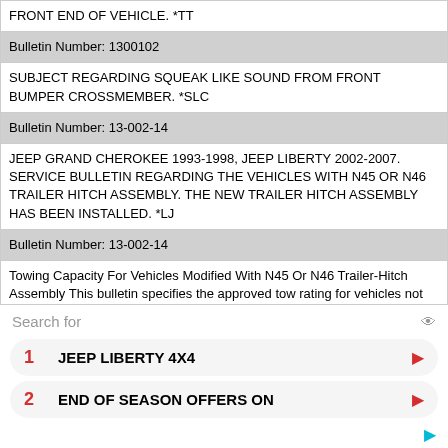| FRONT END OF VEHICLE. *TT |
| Bulletin Number: 1300102 |
| SUBJECT REGARDING SQUEAK LIKE SOUND FROM FRONT BUMPER CROSSMEMBER. *SLC |
| Bulletin Number: 13-002-14 |
| JEEP GRAND CHEROKEE 1993-1998, JEEP LIBERTY 2002-2007. SERVICE BULLETIN REGARDING THE VEHICLES WITH N45 OR N46 TRAILER HITCH ASSEMBLY. THE NEW TRAILER HITCH ASSEMBLY HAS BEEN INSTALLED. *LJ |
| Bulletin Number: 13-002-14 |
| Towing Capacity For Vehicles Modified With N45 Or N46 Trailer-Hitch Assembly This bulletin specifies the approved tow rating for vehicles not equipped with trailer tow package that have received a trailer-hitch assembly as a result of the |
| Bulletin Number: 1400102 |
| SUBJECT REGARDING FUEL CAP DIFFICULT TO REMOVE. *SLC |
| Bulletin Number: 1400102A |
| FUEL CAP DIFFICULT TO REMOVE. *TT |
Search for
1  JEEP LIBERTY 4X4
2  END OF SEASON OFFERS ON